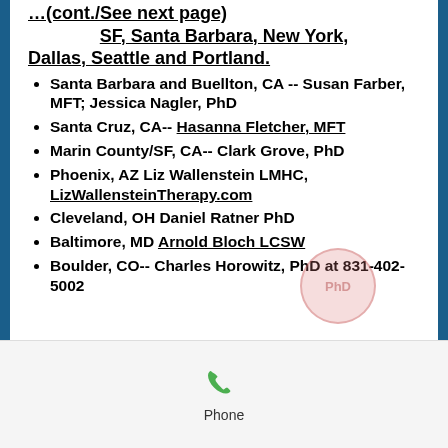…(cont./See next page) SF, Santa Barbara, New York, Dallas, Seattle and Portland.
Santa Barbara and Buellton, CA -- Susan Farber, MFT;  Jessica Nagler, PhD
Santa Cruz, CA-- Hasanna Fletcher, MFT
Marin County/SF, CA--  Clark Grove, PhD
Phoenix, AZ  Liz Wallenstein LMHC, LizWallensteinTherapy.com
Cleveland, OH  Daniel Ratner PhD
Baltimore, MD  Arnold Bloch LCSW
Boulder, CO-- Charles Horowitz, PhD at 831-402-5002
[Figure (other): Phone icon with label 'Phone' at bottom of page]